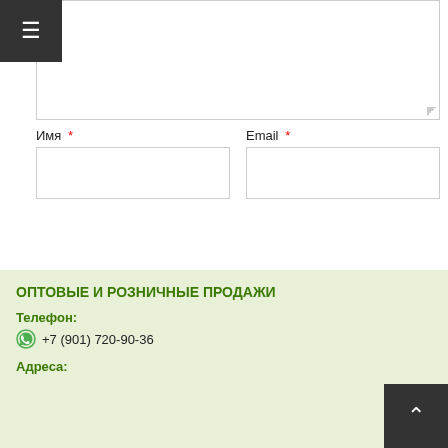[Textarea input field]
Имя * (input field)
Email * (input field)
Сохранить моё имя, email и адрес сайта в этом браузере для последующих моих комментариев.
Отправить комментарий
ОПТОВЫЕ И РОЗНИЧНЫЕ ПРОДАЖИ
Телефон:
+7 (901) 720-90-36
Адреса: